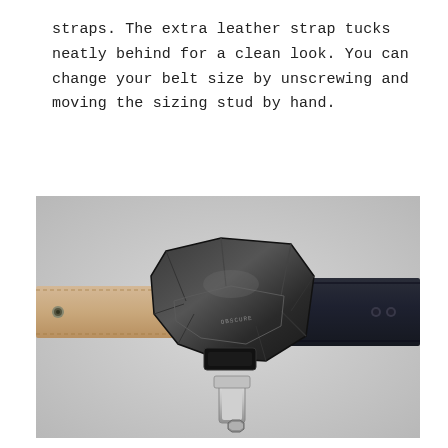straps. The extra leather strap tucks neatly behind for a clean look. You can change your belt size by unscrewing and moving the sizing stud by hand.
[Figure (photo): Close-up top-down view of a geometric faceted dark metal belt buckle (branded, with logo) connecting a tan/beige leather strap on the left and a dark navy/black leather belt on the right, with a small metal sizing stud tool visible below the buckle, all on a light grey background.]